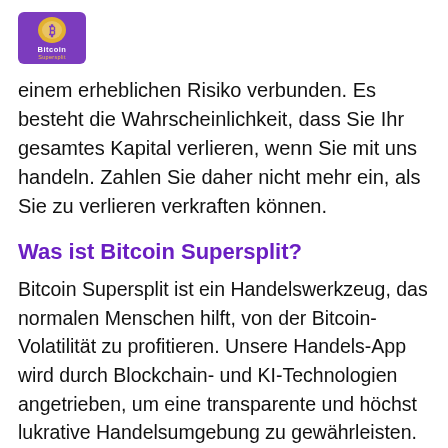[Figure (logo): Bitcoin Supersplit logo — purple rounded square with bitcoin coin icon and text 'Bitcoin' in white]
einem erheblichen Risiko verbunden. Es besteht die Wahrscheinlichkeit, dass Sie Ihr gesamtes Kapital verlieren, wenn Sie mit uns handeln. Zahlen Sie daher nicht mehr ein, als Sie zu verlieren verkraften können.
Was ist Bitcoin Supersplit?
Bitcoin Supersplit ist ein Handelswerkzeug, das normalen Menschen hilft, von der Bitcoin-Volatilität zu profitieren. Unsere Handels-App wird durch Blockchain- und KI-Technologien angetrieben, um eine transparente und höchst lukrative Handelsumgebung zu gewährleisten. Sie könnten auch Ihre erste Million im ersten Handelsjahr verdienen, wenn Sie unsere Handelsanweisungen befolgen.
Fakten über Bitcoin Supersplit?
Es ist eine allbekannte Tatsache, dass es sich...